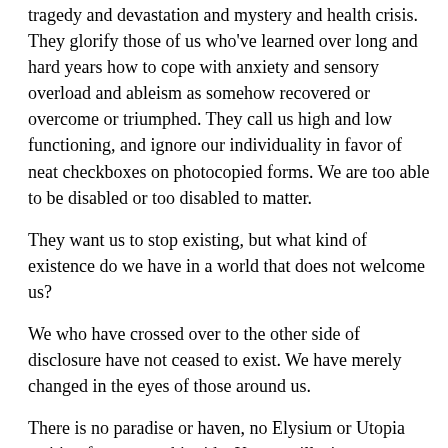tragedy and devastation and mystery and health crisis. They glorify those of us who've learned over long and hard years how to cope with anxiety and sensory overload and ableism as somehow recovered or overcome or triumphed. They call us high and low functioning, and ignore our individuality in favor of neat checkboxes on photocopied forms. We are too able to be disabled or too disabled to matter.
They want us to stop existing, but what kind of existence do we have in a world that does not welcome us?
We who have crossed over to the other side of disclosure have not ceased to exist. We have merely changed in the eyes of those around us.
There is no paradise or haven, no Elysium or Utopia waiting for you on this side. Keep no illusions, no delusions. There exist only the barren promises of equal rights that we who've already crossed over know to be abandoned and unfulfilled.
But this will not last forever. They will not always keep the status quo as it exists now. Those who want us to come into our own,